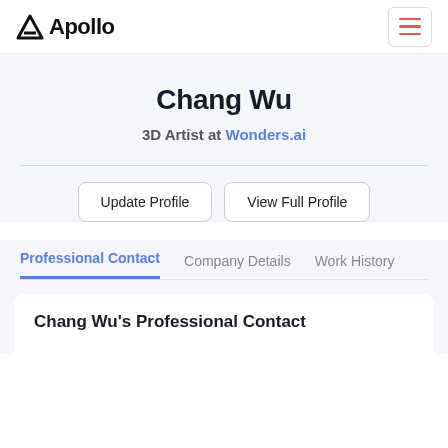Apollo
Chang Wu
3D Artist at Wonders.ai
Update Profile   View Full Profile
Professional Contact   Company Details   Work History
Chang Wu's Professional Contact